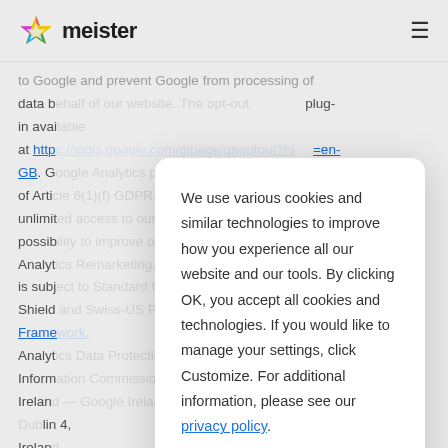meister
to Google and prevent Google from processing of data b[ehalf of our website. The opt-out plug-in avai[lable] at http[s://tools.google.com/dlpage/gaoptout?hl]=en-GB. G[oogle Analytics processes data for our website on the legal] basis of Arti[cle 6(1)(f) GDPR. The legitimate interest that] e is unlimit[ed access to our services and the potential] possib[ility to improve our services. We also use Go]ogle Analyt[ics Remarketing, Google Signals and Google Ads, w]hich is subj[ect to Standard Contractual Clauses and the EU-US Privacy] Shield [and Swiss-US Privacy] Frame[work.] Analyt[ics Data Protection Officer: Google Ireland Limited, Gordon House, Barrow Street, Dublin 4,] Irelan[d,] Ireland.
[Figure (other): Cookie consent modal dialog with text: We use various cookies and similar technologies to improve how you experience all our website and our tools. By clicking OK, you accept all cookies and technologies. If you would like to manage your settings, click Customize. For additional information, please see our privacy policy. Buttons: Customize and OK.]
We use various cookies and similar technologies to improve how you experience all our website and our tools. By clicking OK, you accept all cookies and technologies. If you would like to manage your settings, click Customize. For additional information, please see our privacy policy.